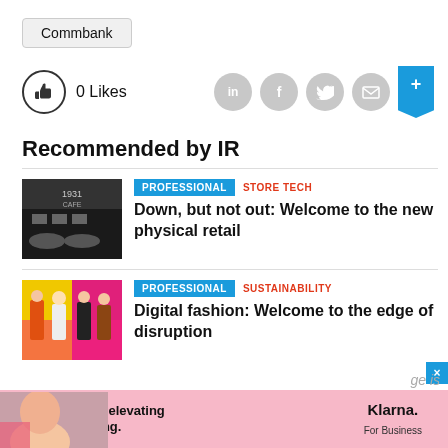[Figure (logo): Commbank button/badge with grey background]
0 Likes
[Figure (infographic): Social share icons: LinkedIn, Facebook, Twitter, Email, Save (blue bookmark)]
Recommended by IR
[Figure (photo): Cafe interior with table set with dishes, text '1931 CAFE']
PROFESSIONAL   STORE TECH
Down, but not out: Welcome to the new physical retail
[Figure (photo): Colorful fashion photo with models in bright outfits on pink/yellow background]
PROFESSIONAL   SUSTAINABILITY
Digital fashion: Welcome to the edge of disruption
[Figure (photo): Advertisement: woman's face on left, pink background, Klarna For Business ad]
Bold moves are elevating in-store shopping.
Klarna. For Business